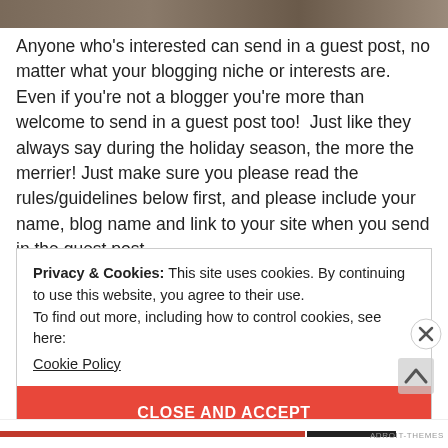[Figure (photo): Partial photo strip at top of page showing blurred/cropped image]
Anyone who’s interested can send in a guest post, no matter what your blogging niche or interests are. Even if you’re not a blogger you’re more than welcome to send in a guest post too!  Just like they always say during the holiday season, the more the merrier! Just make sure you please read the rules/guidelines below first, and please include your name, blog name and link to your site when you send in the guest post.
Privacy & Cookies: This site uses cookies. By continuing to use this website, you agree to their use.
To find out more, including how to control cookies, see here:
Cookie Policy
CLOSE AND ACCEPT